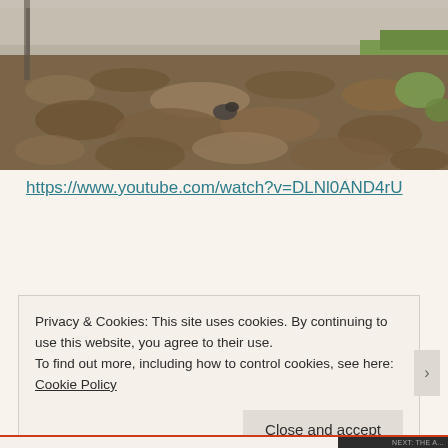[Figure (photo): Outdoor photo showing dead leaves and debris on the ground near a fence or wall, with grass visible at the edge. A small animal (possibly a squirrel or bird) appears to be visible among the leaves. There is a concrete or stone structure visible in the upper portion.]
https://www.youtube.com/watch?v=DLNl0AND4rU
Privacy & Cookies: This site uses cookies. By continuing to use this website, you agree to their use.
To find out more, including how to control cookies, see here: Cookie Policy
Close and accept